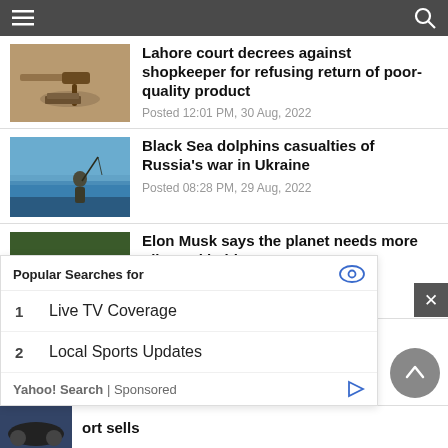Navigation bar with hamburger menu and search icon
[Figure (photo): Gavel on desk, court scene]
Lahore court decrees against shopkeeper for refusing return of poor-quality product
Posted 12:01 PM, 30 Aug, 2022
[Figure (photo): Person fishing in Black Sea water]
Black Sea dolphins casualties of Russia's war in Ukraine
Posted 08:28 PM, 29 Aug, 2022
[Figure (photo): Elon Musk speaking to press surrounded by reporters]
Elon Musk says the planet needs more oil... and babies
Posted 07:23 PM, 29 Aug, 2022
[Figure (photo): Car partial thumbnail]
ort sells
Popular Searches for
1  Live TV Coverage
2  Local Sports Updates
Yahoo! Search | Sponsored